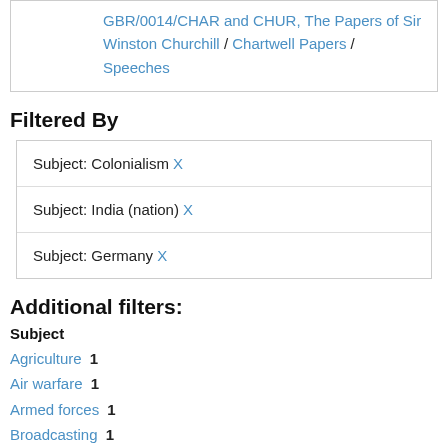GBR/0014/CHAR and CHUR, The Papers of Sir Winston Churchill / Chartwell Papers / Speeches
Filtered By
| Subject: Colonialism X |
| Subject: India (nation) X |
| Subject: Germany X |
Additional filters:
Subject
Agriculture  1
Air warfare  1
Armed forces  1
Broadcasting  1
Constitutional history  1